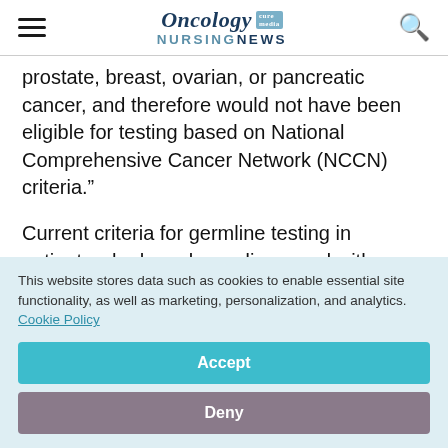Oncology NURSING NEWS
prostate, breast, ovarian, or pancreatic cancer, and therefore would not have been eligible for testing based on National Comprehensive Cancer Network (NCCN) criteria.”
Current criteria for germline testing in patients who have been diagnosed with prostate cancer
This website stores data such as cookies to enable essential site functionality, as well as marketing, personalization, and analytics. Cookie Policy
Accept
Deny